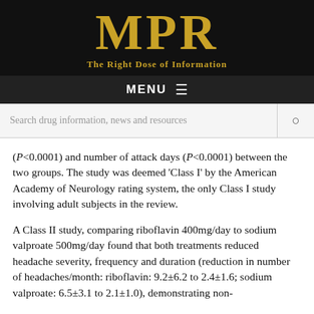MPR — The Right Dose of Information
(P<0.0001) and number of attack days (P<0.0001) between the two groups. The study was deemed 'Class I' by the American Academy of Neurology rating system, the only Class I study involving adult subjects in the review.
A Class II study, comparing riboflavin 400mg/day to sodium valproate 500mg/day found that both treatments reduced headache severity, frequency and duration (reduction in number of headaches/month: riboflavin: 9.2±6.2 to 2.4±1.6; sodium valproate: 6.5±3.1 to 2.1±1.0), demonstrating non-